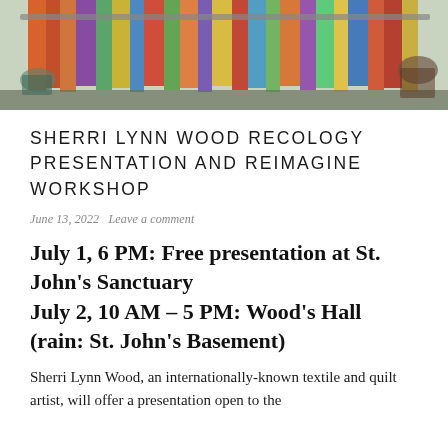[Figure (photo): Photo banner showing colorful quilts hanging on a wall, people visible at sides]
SHERRI LYNN WOOD RECOLOGY PRESENTATION AND REIMAGINE WORKSHOP
June 13, 2022   Leave a comment
July 1, 6 PM: Free presentation at St. John's Sanctuary
July 2, 10 AM – 5 PM: Wood's Hall (rain: St. John's Basement)
Sherri Lynn Wood, an internationally-known textile and quilt artist, will offer a presentation open to the